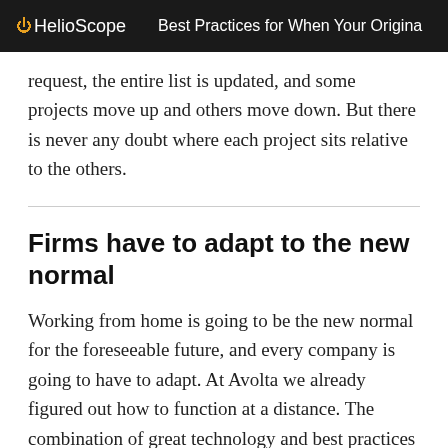HelioScope  Best Practices for When Your Origina
request, the entire list is updated, and some projects move up and others move down. But there is never any doubt where each project sits relative to the others.
Firms have to adapt to the new normal
Working from home is going to be the new normal for the foreseeable future, and every company is going to have to adapt. At Avolta we already figured out how to function at a distance. The combination of great technology and best practices will let the wider solar